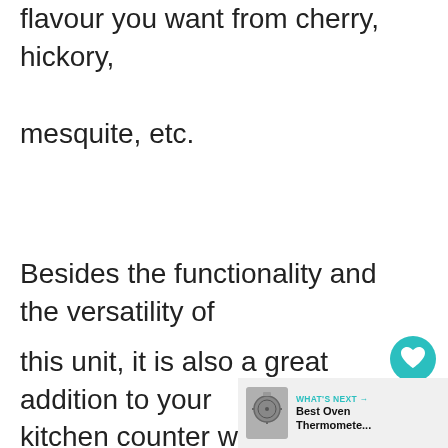flavour you want from cherry, hickory, mesquite, etc.
Besides the functionality and the versatility of this unit, it is also a great addition to your kitchen counter with the attractive look.
[Figure (other): Heart/like button (teal circle with heart icon) with count of 1, and share button (teal circle with share icon)]
[Figure (other): What's Next panel with oven thermometer image and text: WHAT'S NEXT → Best Oven Thermomete...]